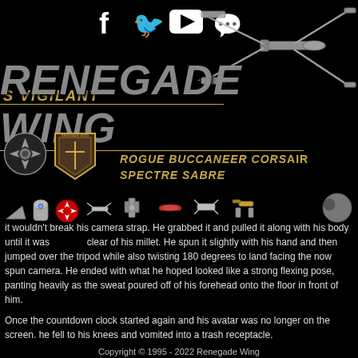[Figure (illustration): Social media icons: Facebook, Twitter, YouTube, Discord in white on black background]
[Figure (illustration): X-Wing starfighter illustration in upper right corner, grayscale]
S VIGILANT / RENEGADE WING
ROGUE BUCCANEER CORSAIR SPECTRE SABRE
[Figure (logo): Rebel Alliance logo (circular star symbol) silver on black]
[Figure (logo): Renegade Wing badge/shield logo in gold and brown]
[Figure (illustration): Navigation icon row: various Star Wars ships and icons including Millennium Falcon, R2-D2, Rebel Alliance symbol, X-Wing, TIE Fighter, A-Wing, another fighter, Y-Wing, planet/moon]
it wouldn't break his camera strap. He grabbed it and pulled it along with his body until it was clear of his millet. He spun it slightly with his hand and then jumped over the tripod while also twisting 180 degrees to land facing the now spun camera. He ended with what he hoped looked like a strong flexing pose, panting heavily as the sweat poured off of his forehead onto the floor in front of him.
Once the countdown clock started again and his avatar was no longer on the screen. he fell to his knees and vomited into a trash receptacle.
Copyright © 1995 - 2022 Renegade Wing